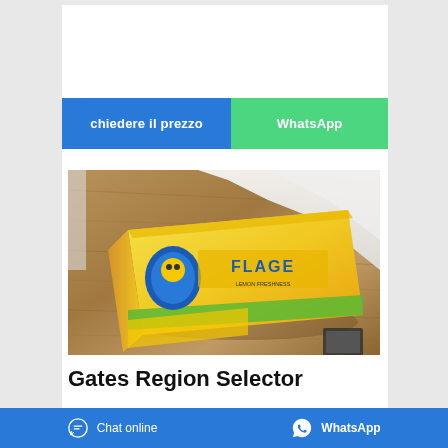[Figure (other): Two buttons: blue 'chiedere il prezzo' and green 'WhatsApp']
[Figure (photo): Product photo: a yellow bag of FLAG detergent/cleaning product on a wooden table with white cloth in background]
Gates Region Selector
Chat online | WhatsApp